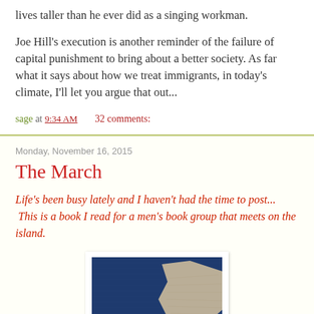lives taller than he ever did as a singing workman.
Joe Hill's execution is another reminder of the failure of capital punishment to bring about a better society. As far what it says about how we treat immigrants, in today's climate, I'll let you argue that out...
sage at 9:34 AM    32 comments:
Monday, November 16, 2015
The March
Life's been busy lately and I haven't had the time to post...  This is a book I read for a men's book group that meets on the island.
[Figure (photo): Book cover photo showing blue fabric/textile with a beige or tan shape against a dark background]